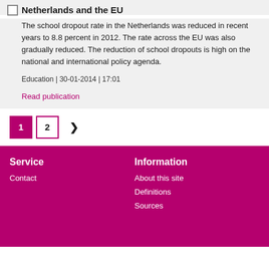Netherlands and the EU
The school dropout rate in the Netherlands was reduced in recent years to 8.8 percent in 2012. The rate across the EU was also gradually reduced. The reduction of school dropouts is high on the national and international policy agenda.
Education | 30-01-2014 | 17:01
Read publication
1
2
Service
Contact
Information
About this site
Definitions
Sources